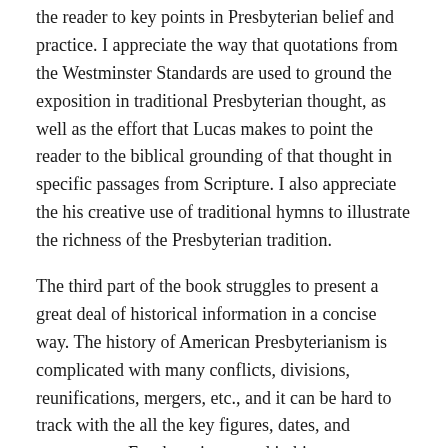the reader to key points in Presbyterian belief and practice. I appreciate the way that quotations from the Westminster Standards are used to ground the exposition in traditional Presbyterian thought, as well as the effort that Lucas makes to point the reader to the biblical grounding of that thought in specific passages from Scripture. I also appreciate the his creative use of traditional hymns to illustrate the richness of the Presbyterian tradition.
The third part of the book struggles to present a great deal of historical information in a concise way. The history of American Presbyterianism is complicated with many conflicts, divisions, reunifications, mergers, etc., and it can be hard to track with the all the key figures, dates, and movements. For those interested in history, one might consider Lucas' other book For a Continuing Church: The Roots of the Presbyterian Church in America for the more complete picture.